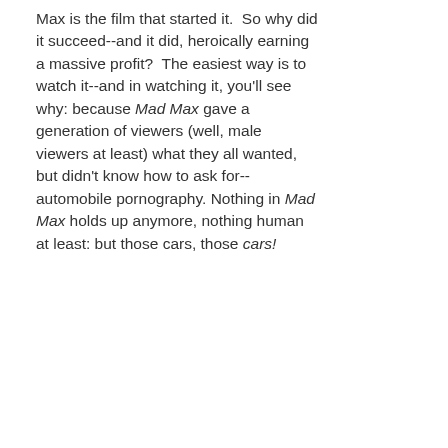Max is the film that started it.  So why did it succeed--and it did, heroically earning a massive profit?  The easiest way is to watch it--and in watching it, you'll see why: because Mad Max gave a generation of viewers (well, male viewers at least) what they all wanted, but didn't know how to ask for--automobile pornography. Nothing in Mad Max holds up anymore, nothing human at least: but those cars, those cars!